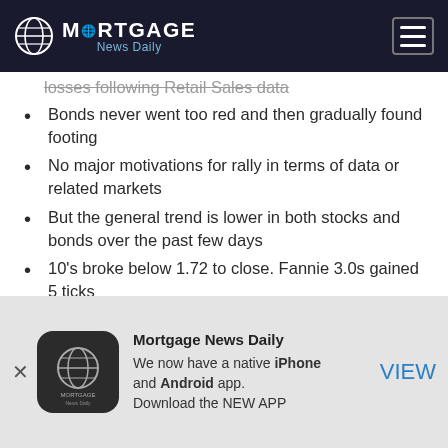Mortgage News Daily
losses following Retail Sales data
Bonds never went too red and then gradually found footing
No major motivations for rally in terms of data or related markets
But the general trend is lower in both stocks and bonds over the past few days
10's broke below 1.72 to close.  Fannie 3.0s gained 5 ticks
It turned in to quite a nice afternoon for bond markets after a morning that wasn't too offensive in
[Figure (logo): Mortgage News Daily mobile app advertisement banner with logo, text about iPhone and Android app, and VIEW button]